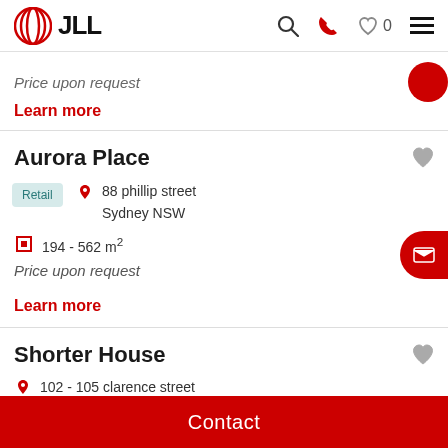JLL
Price upon request
Learn more
Aurora Place
88 phillip street Sydney NSW
194 - 562 m²
Price upon request
Learn more
Shorter House
102 - 105 clarence street
Contact